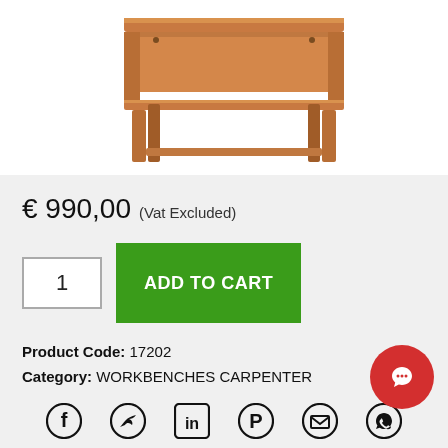[Figure (photo): Wooden workbench/carpenter bench with lower shelf, viewed from front angle, brown wood finish]
€ 990,00 (Vat Excluded)
1  ADD TO CART
Product Code: 17202
Category: WORKBENCHES CARPENTER
[Figure (infographic): Social sharing icons: Facebook, Twitter, LinkedIn, Pinterest, Email, WhatsApp]